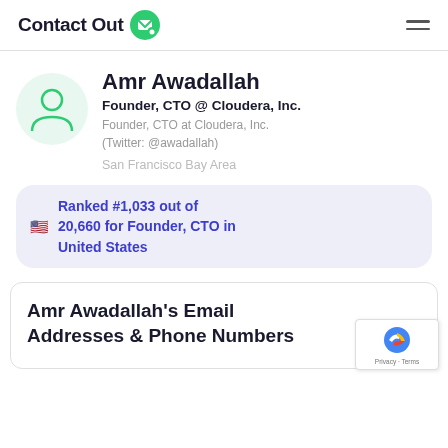ContactOut
Amr Awadallah
Founder, CTO @ Cloudera, Inc.
Founder, CTO at Cloudera, Inc. (Twitter: @awadallah)
San Francisco Bay Area
Ranked #1,033 out of 20,660 for Founder, CTO in United States
Amr Awadallah's Email Addresses & Phone Numbers